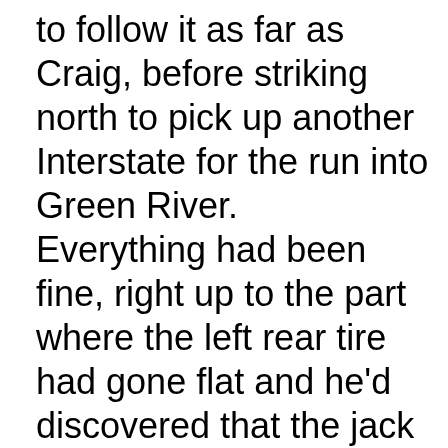to follow it as far as Craig, before striking north to pick up another Interstate for the run into Green River.
Everything had been fine, right up to the part where the left rear tire had gone flat and he'd discovered that the jack was broken.  After finding his cell phone was useless, he'd waited a full half-hour, before deciding that whatever